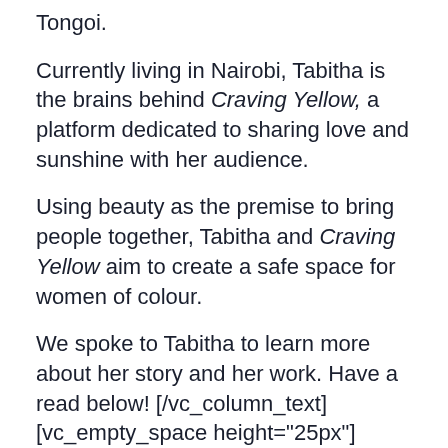Tongoi.
Currently living in Nairobi, Tabitha is the brains behind Craving Yellow, a platform dedicated to sharing love and sunshine with her audience.
Using beauty as the premise to bring people together, Tabitha and Craving Yellow aim to create a safe space for women of colour.
We spoke to Tabitha to learn more about her story and her work. Have a read below! [/vc_column_text][vc_empty_space height="25px"][vc_separator type="normal" color="#ad0000" thickness="5px"][vc_column_text]While Tabitha Tongoi was growing up in Nairobi, she was raised with the values of always looking out for others,